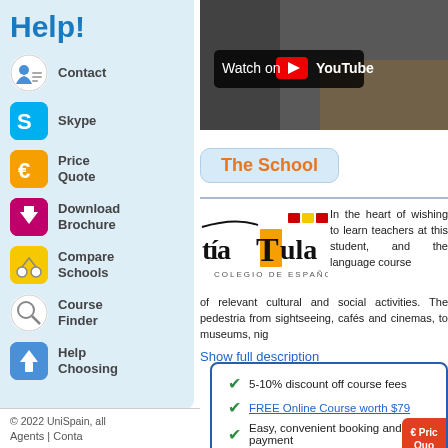Help!
Contact
Skype
Price Quote
Download Brochure
Compare Schools
Course Finder
Help Choosing
[Figure (screenshot): YouTube video thumbnail with 'Watch on YouTube' badge]
The School
[Figure (logo): Tia Tula Colegio de Español logo with Spanish flag colors]
In the heart of wishing to learn teachers at this student, and the language course of relevant cultural and social activities. The pedestria from sightseeing, cafés and cinemas, to museums, nig
Show full description
5-10% discount off course fees
FREE Online Course worth $79
Easy, convenient booking and payment
Expert advice: 10+ years of experience
300+ courses in over 40 schools
© 2022 UniSpain, all
Agents | Conta